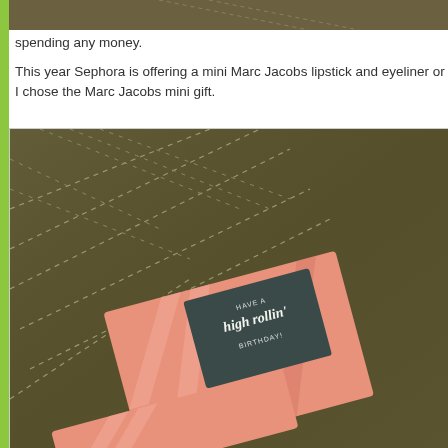[Figure (photo): Partial photo of a fabric/textile surface with stitching detail at the top of the page]
spending any money.
This year Sephora is offering a mini Marc Jacobs lipstick and eyeliner or I chose the Marc Jacobs mini gift.
[Figure (photo): Photo of a Marc Jacobs Roller Lash birthday gift set in pink packaging with text 'Have a high rollin' Birthday!' on an olive/khaki fabric background]